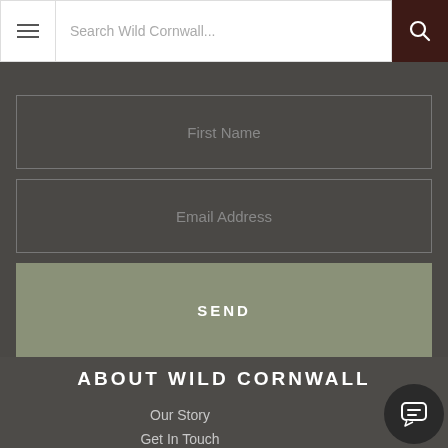Search Wild Cornwall...
First Name
Email Address
SEND
ABOUT WILD CORNWALL
Our Story
Get In Touch